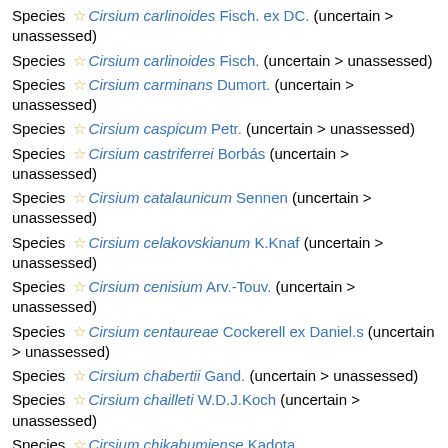Species ☆ Cirsium carlinoides Fisch. ex DC. (uncertain > unassessed)
Species ☆ Cirsium carlinoides Fisch. (uncertain > unassessed)
Species ☆ Cirsium carminans Dumort. (uncertain > unassessed)
Species ☆ Cirsium caspicum Petr. (uncertain > unassessed)
Species ☆ Cirsium castriferrei Borbás (uncertain > unassessed)
Species ☆ Cirsium catalaunicum Sennen (uncertain > unassessed)
Species ☆ Cirsium celakovskianum K.Knaf (uncertain > unassessed)
Species ☆ Cirsium cenisium Arv.-Touv. (uncertain > unassessed)
Species ☆ Cirsium centaureae Cockerell ex Daniel.s (uncertain > unassessed)
Species ☆ Cirsium chabertii Gand. (uncertain > unassessed)
Species ☆ Cirsium chailleti W.D.J.Koch (uncertain > unassessed)
Species ☆ Cirsium chikabumiense Kadota